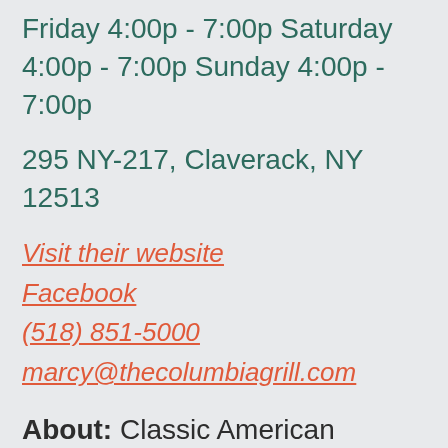Friday 4:00p - 7:00p Saturday 4:00p - 7:00p Sunday 4:00p - 7:00p
295 NY-217, Claverack, NY 12513
Visit their website
Facebook
(518) 851-5000
marcy@thecolumbiagrill.com
About: Classic American steakhouse located at the historic Columbia Golf & Country Club, now in soft opening doing takeout on the weekends. Steaks, burgers, sustainable seafood alongside